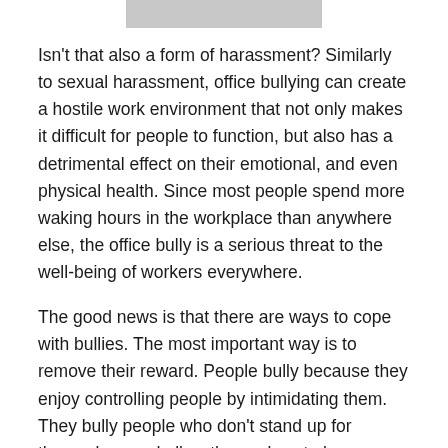[Figure (photo): Partial photo strip at top of page, appears to show people (cropped)]
Isn't that also a form of harassment? Similarly to sexual harassment, office bullying can create a hostile work environment that not only makes it difficult for people to function, but also has a detrimental effect on their emotional, and even physical health. Since most people spend more waking hours in the workplace than anywhere else, the office bully is a serious threat to the well-being of workers everywhere.
The good news is that there are ways to cope with bullies. The most important way is to remove their reward. People bully because they enjoy controlling people by intimidating them. They bully people who don't stand up for themselves and allow themselves to be controlled. Remove the ability to control, and you've just taken away